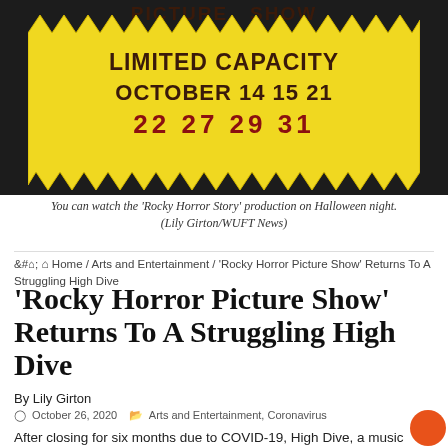[Figure (photo): A yellow starburst-shaped sign on a dark background advertising Rocky Horror Picture Show with Limited Capacity on October 14, 15, 21, 22, 27, 29, 31]
You can watch the 'Rocky Horror Story' production on Halloween night. (Lily Girton/WUFT News)
🏠 Home / Arts and Entertainment / 'Rocky Horror Picture Show' Returns To A Struggling High Dive
'Rocky Horror Picture Show' Returns To A Struggling High Dive
By Lily Girton
October 26, 2020    Arts and Entertainment, Coronavirus
After closing for six months due to COVID-19, High Dive, a music venue in Gainesville, is back open with its seventh